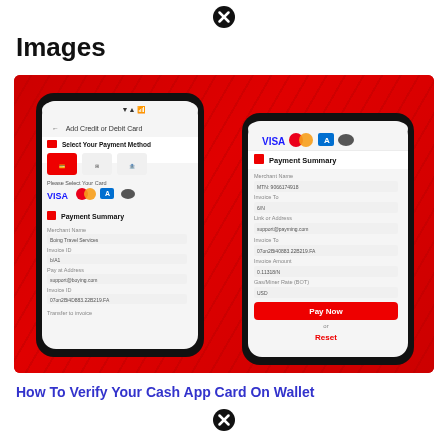[Figure (other): Close/delete icon (black circle with X) at top center]
Images
[Figure (screenshot): Two smartphone screenshots on a red background showing a payment app interface with 'Add Credit or Debit Card', 'Select Your Payment Method', card logos (VISA, Mastercard, Amex), and 'Payment Summary' screens with merchant name, invoice ID, email address, and invoice fields, plus a 'Pay Now' button and 'Reset' link.]
How To Verify Your Cash App Card On Wallet
[Figure (other): Close/delete icon (black circle with X) at bottom center]